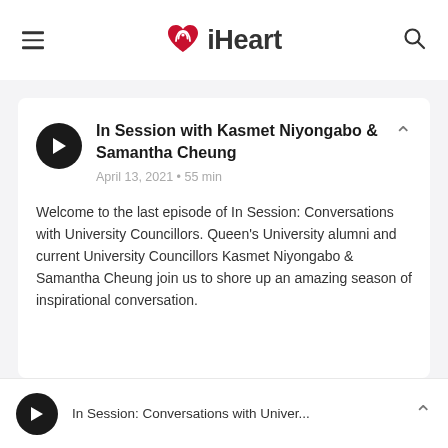iHeart
In Session with Kasmet Niyongabo & Samantha Cheung
April 13, 2021 • 55 min
Welcome to the last episode of In Session: Conversations with University Councillors. Queen's University alumni and current University Councillors Kasmet Niyongabo & Samantha Cheung join us to shore up an amazing season of inspirational conversation.
In Session: Conversations with Univer...